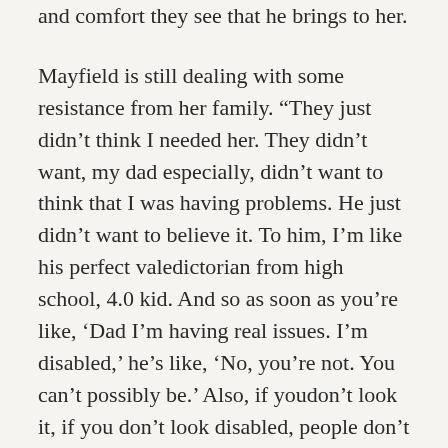and comfort they see that he brings to her.
Mayfield is still dealing with some resistance from her family. “They just didn’t think I needed her. They didn’t want, my dad especially, didn’t want to think that I was having problems. He just didn’t want to believe it. To him, I’m like his perfect valedictorian from high school, 4.0 kid. And so as soon as you’re like, ‘Dad I’m having real issues. I’m disabled,’ he’s like, ‘No, you’re not. You can’t possibly be.’ Also, if you don’t look it, if you don’t look disabled, people don’t want to believe you. They don’t want to believe that there are other things that are disabilities that you can’t